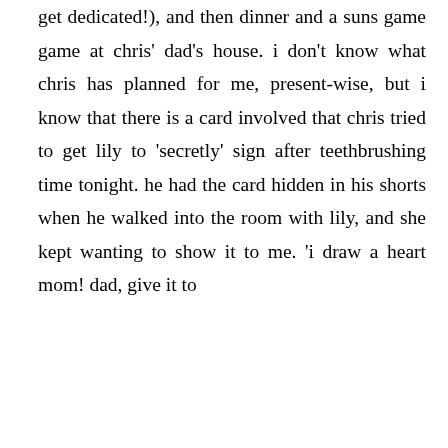get dedicated!), and then dinner and a suns game game at chris' dad's house. i don't know what chris has planned for me, present-wise, but i know that there is a card involved that chris tried to get lily to 'secretly' sign after teethbrushing time tonight. he had the card hidden in his shorts when he walked into the room with lily, and she kept wanting to show it to me. 'i draw a heart mom! dad, give it to